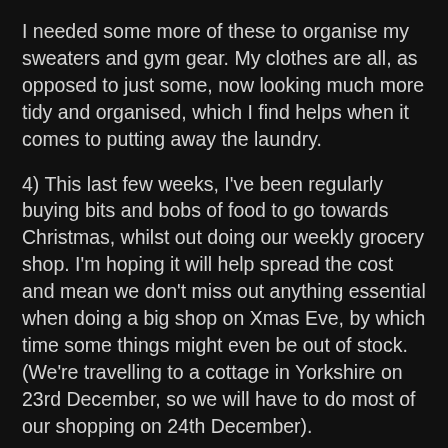I needed some more of these to organise my sweaters and gym gear. My clothes are all, as opposed to just some, now looking much more tidy and organised, which I find helps when it comes to putting away the laundry.
4) This last few weeks, I've been regularly buying bits and bobs of food to go towards Christmas, whilst out doing our weekly grocery shop. I'm hoping it will help spread the cost and mean we don't miss out anything essential when doing a big shop on Xmas Eve, by which time some things might even be out of stock. (We're travelling to a cottage in Yorkshire on 23rd December, so we will have to do most of our shopping on 24th December).
5) I used a £5 loyalty voucher from ASOS to go towards a birthday present for LB whose birthday is three weeks after Christmas and OH took advantage of the Black Friday 5 day sale to buy some Dr Marten's for her for school, which saved over £20 off the normal retail price. This definitely made them better value. I'm hoping that they will last her the next two years as she is very heavy on shoes and the heels on